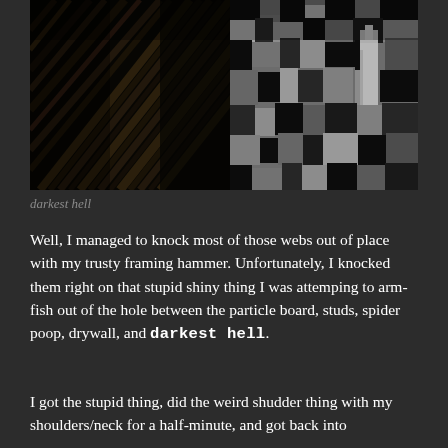[Figure (photo): Dark, grainy photo of what appears to be a cramped space between walls/studs. Left side shows diagonal wooden boards/framing in dark brown tones. Right side shows a heavily contrasted black and white textured surface (possibly insulation, drywall, or a wall surface with visible patterns). Very dark, low-light photo.]
darkest hell
Well, I managed to knock most of those webs out of place with my trusty framing hammer. Unfortunately, I knocked them right on that stupid shiny thing I was attemping to arm-fish out of the hole between the particle board, studs, spider poop, drywall, and darkest hell.
I got the stupid thing, did the weird shudder thing with my shoulders/neck for a half-minute, and got back into